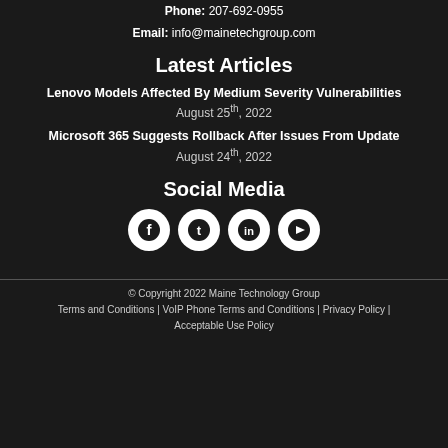Phone: 207-692-0955
Email: info@mainetechgroup.com
Latest Articles
Lenovo Models Affected By Medium Severity Vulnerabilities
August 25th, 2022
Microsoft 365 Suggests Rollback After Issues From Update
August 24th, 2022
Social Media
[Figure (illustration): Social media icons: Facebook, Twitter, LinkedIn, YouTube — white icons on white circular backgrounds]
© Copyright 2022 Maine Technology Group
Terms and Conditions | VoIP Phone Terms and Conditions | Privacy Policy | Acceptable Use Policy